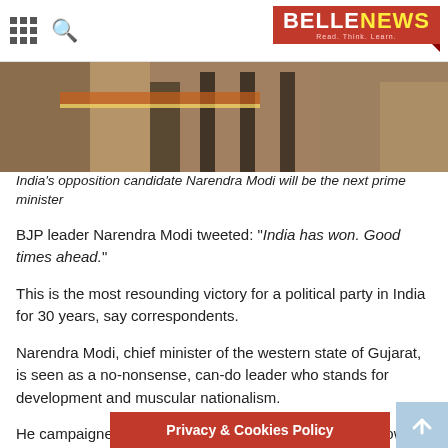BELLENEWS — Read. Think. Learn.
[Figure (photo): Photograph of Narendra Modi, partially visible, wearing traditional Indian attire with decorative items visible in background]
India's opposition candidate Narendra Modi will be the next prime minister
BJP leader Narendra Modi tweeted: "India has won. Good times ahead."
This is the most resounding victory for a political party in India for 30 years, say correspondents.
Narendra Modi, chief minister of the western state of Gujarat, is seen as a no-nonsense, can-do leader who stands for development and muscular nationalism.
He campaigned on promises of a revival in economic growth.
But many Indians still have profound concerns over Narendra Modi because of claims he did little to stop the 2002 communal riots in Gujarat, in which at least 1,000 … Muslims –